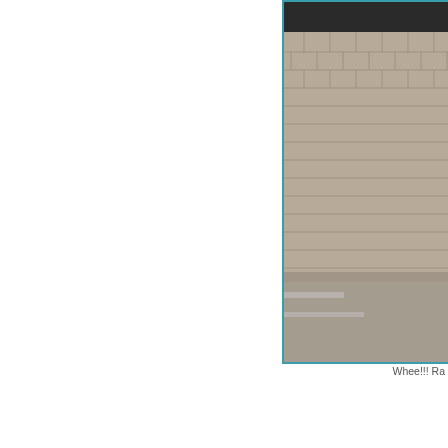[Figure (photo): Aerial or ground-level photo of a brick paved surface/pathway with white line markings, cropped at right side of page]
Whee!!! Ra
Another super awesome thing in my life that last semester was a ton of fun, and specifically for the Fifteen Minutes mag have definitely improved, to the point w be monitoring compers as a Junior Edi I've just done. Tomorrow, I'm covering t coming up to watch with me. I am also superiors/great people) in order to be ( means a lot of mini meetings in order t update you when I hear back, but for n
[Figure (photo): Photo of a swimming pool with blue water and lane markings visible]